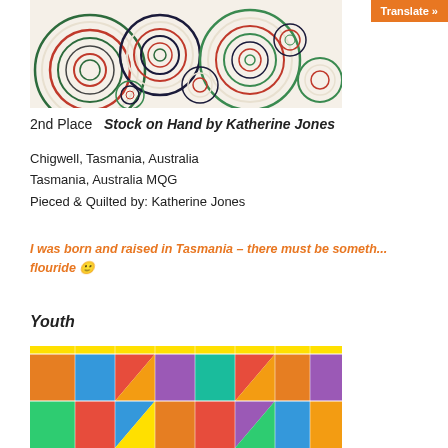[Figure (photo): Quilt artwork showing colorful concentric circles in green, red, and dark navy on a cream/white background – 'Stock on Hand' by Katherine Jones]
2nd Place  Stock on Hand by Katherine Jones
Chigwell, Tasmania, Australia
Tasmania, Australia MQG
Pieced & Quilted by: Katherine Jones
I was born and raised in Tasmania – there must be someth... flouride 🙂
Youth
[Figure (photo): Colorful patchwork quilt with bright triangles, squares and geometric shapes in orange, yellow, blue, green, purple and red fabrics hanging on a wall]